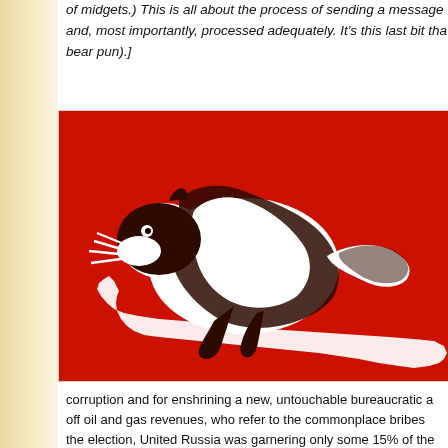of midgets.) This is all about the process of sending a message and, most importantly, processed adequately. It's this last bit tha bear pun).]
[Figure (illustration): A stylized graphic of a bear (white silhouette with dark brown/black outlines and details) superimposed on a white map of Russia, all on a bright red background. The bear faces left in an aggressive or prowling pose.]
corruption and for enshrining a new, untouchable bureaucratic a off oil and gas revenues, who refer to the commonplace bribes the election, United Russia was garnering only some 15% of the Communists and the Liberal Democrats. But thanks to rampant